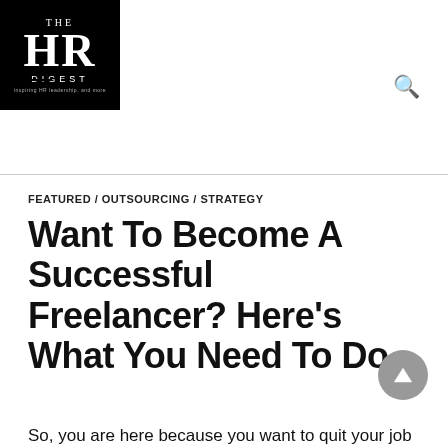THE HR DIGEST
FEATURED / OUTSOURCING / STRATEGY
Want To Become A Successful Freelancer? Here's What You Need To Do
So, you are here because you want to quit your job